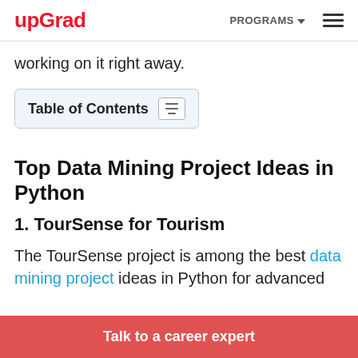upGrad | PROGRAMS ☰
working on it right away.
Table of Contents
Top Data Mining Project Ideas in Python
1. TourSense for Tourism
The TourSense project is among the best data mining project ideas in Python for advanced
Talk to a career expert